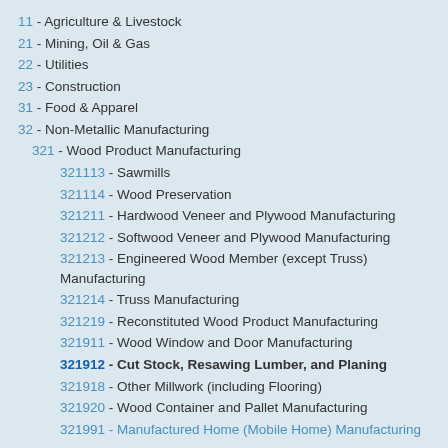11 - Agriculture & Livestock
21 - Mining, Oil & Gas
22 - Utilities
23 - Construction
31 - Food & Apparel
32 - Non-Metallic Manufacturing
321 - Wood Product Manufacturing
321113 - Sawmills
321114 - Wood Preservation
321211 - Hardwood Veneer and Plywood Manufacturing
321212 - Softwood Veneer and Plywood Manufacturing
321213 - Engineered Wood Member (except Truss) Manufacturing
321214 - Truss Manufacturing
321219 - Reconstituted Wood Product Manufacturing
321911 - Wood Window and Door Manufacturing
321912 - Cut Stock, Resawing Lumber, and Planing
321918 - Other Millwork (including Flooring)
321920 - Wood Container and Pallet Manufacturing
321991 - Manufactured Home (Mobile Home) Manufacturing